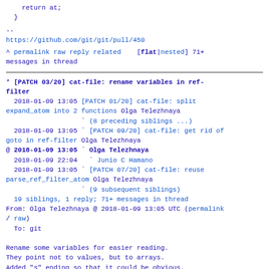return at;
  }
--
https://github.com/git/git/pull/450
^ permalink raw reply related   [flat|nested] 71+ messages in thread
* [PATCH 03/20] cat-file: rename variables in ref-filter
  2018-01-09 13:05 [PATCH 01/20] cat-file: split expand_atom into 2 functions Olga Telezhnaya
                   ` (8 preceding siblings ...)
  2018-01-09 13:05 ` [PATCH 09/20] cat-file: get rid of goto in ref-filter Olga Telezhnaya
@ 2018-01-09 13:05 ` Olga Telezhnaya
  2018-01-09 22:04   ` Junio C Hamano
  2018-01-09 13:05 ` [PATCH 07/20] cat-file: reuse parse_ref_filter_atom Olga Telezhnaya
                   ` (9 subsequent siblings)
  19 siblings, 1 reply; 71+ messages in thread
From: Olga Telezhnaya @ 2018-01-09 13:05 UTC (permalink / raw)
  To: git

Rename some variables for easier reading.
They point not to values, but to arrays.
Added "s" ending so that it could be obvious.